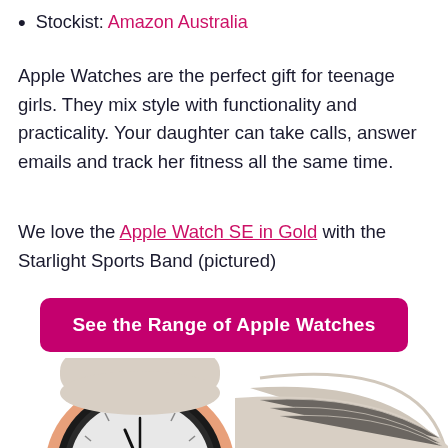Stockist: Amazon Australia
Apple Watches are the perfect gift for teenage girls. They mix style with functionality and practicality. Your daughter can take calls, answer emails and track her fitness all the same time.
We love the Apple Watch SE in Gold with the Starlight Sports Band (pictured)
See the Range of Apple Watches
[Figure (photo): Apple Watch SE in Gold with Starlight Sports Band, shown from a low angle, displaying watch face with analog-style clock markings, rose gold casing and light beige/starlight silicone band.]